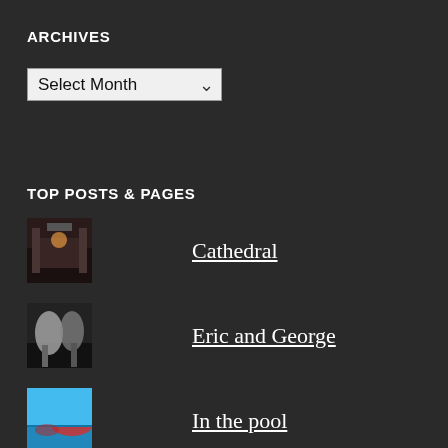ARCHIVES
[Figure (other): Select Month dropdown widget]
TOP POSTS & PAGES
Cathedral
Eric and George
In the pool
Ooh child
Breughel bouquets